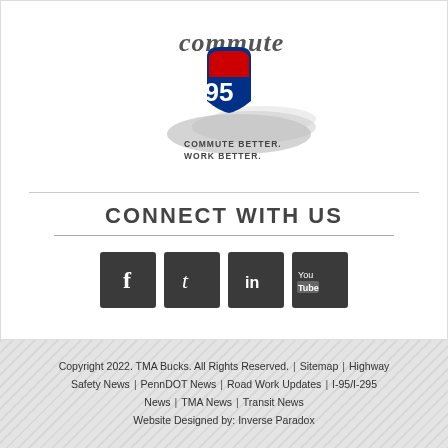[Figure (logo): Commute 95 logo with interstate shield graphic and text 'COMMUTE BETTER. WORK BETTER.']
CONNECT WITH US
[Figure (infographic): Social media icons for Facebook, Twitter, LinkedIn, and YouTube on dark square backgrounds]
Copyright 2022. TMA Bucks. All Rights Reserved. | Sitemap | Highway Safety News | PennDOT News | Road Work Updates | I-95/I-295 News | TMA News | Transit News
Website Designed by: Inverse Paradox